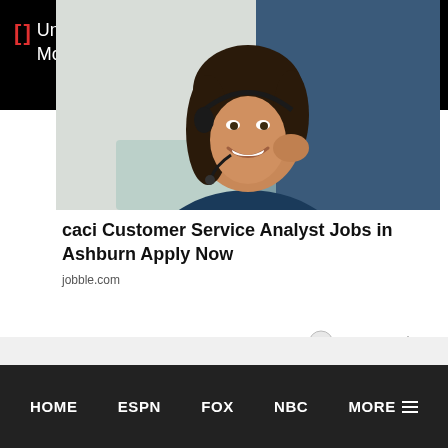Unbelievable Hockey Moments
[Figure (photo): Advertisement image showing a smiling woman wearing a headset/microphone, appearing to be a customer service representative]
caci Customer Service Analyst Jobs in Ashburn Apply Now
jobble.com
[Figure (logo): Outbrain logo with circle icon and play triangle]
HOME  ESPN  FOX  NBC  MORE